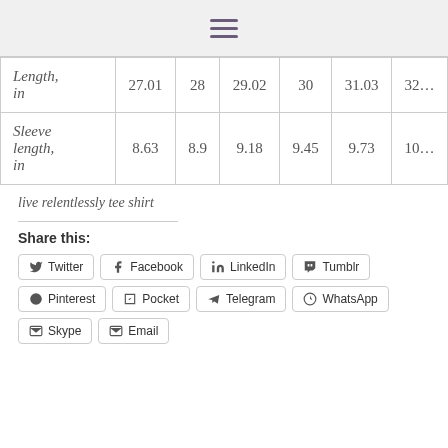Navigation menu (hamburger icon)
|  | col1 | col2 | col3 | col4 | col5 | col6 |
| --- | --- | --- | --- | --- | --- | --- |
| Length, in | 27.01 | 28 | 29.02 | 30 | 31.03 | 32… |
| Sleeve length, in | 8.63 | 8.9 | 9.18 | 9.45 | 9.73 | 10… |
live relentlessly tee shirt
Share this:
Twitter
Facebook
LinkedIn
Tumblr
Pinterest
Pocket
Telegram
WhatsApp
Skype
Email